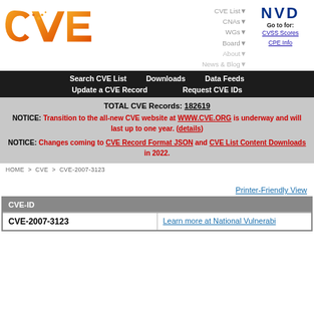[Figure (logo): CVE logo - orange gradient letters CVE with circuit-board dot pattern]
CVE List▼  CNAs▼  WGs▼  Board▼  About▼  News & Blog▼
[Figure (logo): NVD logo - dark blue bold letters, Go to for: CVSS Scores, CPE Info]
Search CVE List   Downloads   Data Feeds   Update a CVE Record   Request CVE IDs
TOTAL CVE Records: 182619
NOTICE: Transition to the all-new CVE website at WWW.CVE.ORG is underway and will last up to one year. (details)
NOTICE: Changes coming to CVE Record Format JSON and CVE List Content Downloads in 2022.
HOME > CVE > CVE-2007-3123
Printer-Friendly View
| CVE-ID |  |
| --- | --- |
| CVE-2007-3123 | Learn more at National Vulnerabi... |